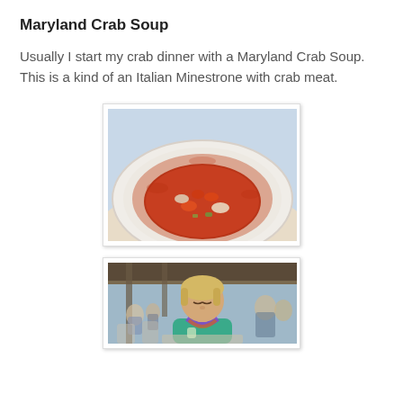Maryland Crab Soup
Usually I start my crab dinner with a Maryland Crab Soup. This is a kind of an Italian Minestrone with crab meat.
[Figure (photo): A white bowl filled with Maryland Crab Soup — a rich tomato-based broth with chunks of crab meat and vegetables, spilled around the rim of the bowl.]
[Figure (photo): A woman with blonde hair wearing a teal top and colorful scarf sitting at a restaurant table, with other diners visible in the background under a covered outdoor dining area.]